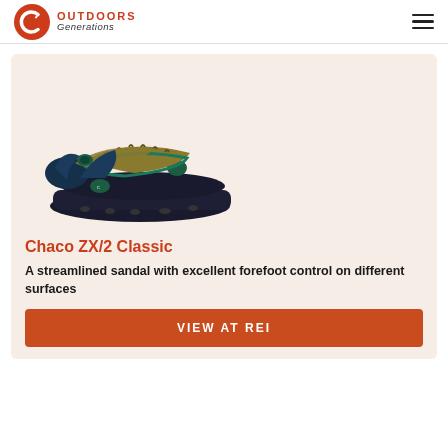OUTDOORS Generations
[Figure (photo): A Chaco ZX/2 Classic sandal with teal and gold striped straps, dark navy footbed, and black rubber outsole, shown on a beige background.]
Chaco ZX/2 Classic
A streamlined sandal with excellent forefoot control on different surfaces
VIEW AT REI